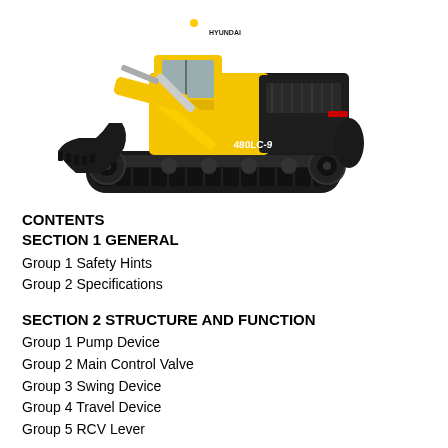[Figure (photo): Hyundai 480LC-9 crawler excavator, yellow and black, shown in profile view with arm extended and bucket lowered]
CONTENTS
SECTION 1 GENERAL
Group 1 Safety Hints
Group 2 Specifications
SECTION 2 STRUCTURE AND FUNCTION
Group 1 Pump Device
Group 2 Main Control Valve
Group 3 Swing Device
Group 4 Travel Device
Group 5 RCV Lever